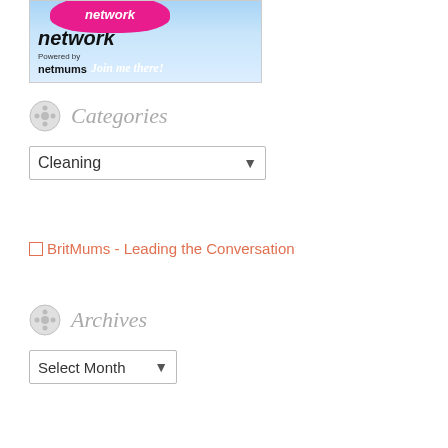[Figure (illustration): Banner image showing 'network' text with pink decorative element at top, 'Powered by netmums' and 'Join me there!' text on a light blue gradient background]
Categories
Cleaning (dropdown selector)
BritMums - Leading the Conversation
Archives
Select Month (dropdown selector)